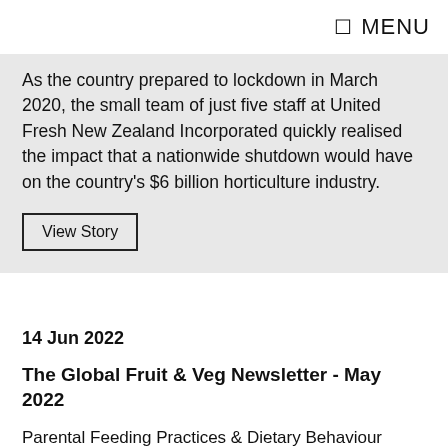☰ MENU
As the country prepared to lockdown in March 2020, the small team of just five staff at United Fresh New Zealand Incorporated quickly realised the impact that a nationwide shutdown would have on the country's $6 billion horticulture industry.
View Story
14 Jun 2022
The Global Fruit & Veg Newsletter - May 2022
Parental Feeding Practices & Dietary Behaviour